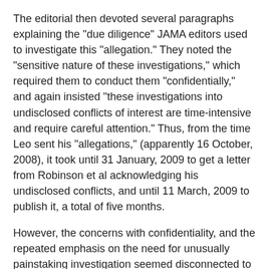The editorial then devoted several paragraphs explaining the "due diligence" JAMA editors used to investigate this "allegation." They noted the "sensitive nature of these investigations," which required them to conduct them "confidentially," and again insisted "these investigations into undisclosed conflicts of interest are time-intensive and require careful attention." Thus, from the time Leo sent his "allegations," (apparently 16 October, 2008), it took until 31 January, 2009 to get a letter from Robinson et al acknowledging his undisclosed conflicts, and until 11 March, 2009 to publish it, a total of five months.
However, the concerns with confidentiality, and the repeated emphasis on the need for unusually painstaking investigation seemed disconnected to the particular case. It is clear that it may take quite a bit of time and effort to investigate some allegations of undisclosed conflicts of interest, especially when the allegations are vague, but the alleged conflicts are severe. However, in this case, it should have taken trivial effort to find Dr Robinson's previous, published disclosures. (It took me about 5 minutes of internet searching to find the two 2005 articles.) Once (easily) discovered, the disclosures